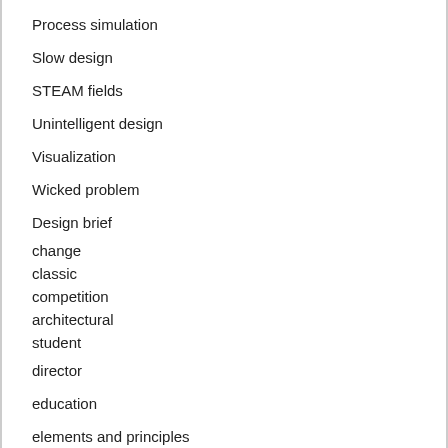Process simulation
Slow design
STEAM fields
Unintelligent design
Visualization
Wicked problem
Design brief
change
classic
competition
architectural
student
director
education
elements and principles
engineer
firm
history